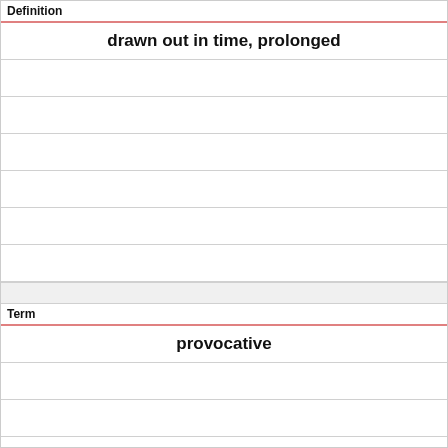| Definition |
| --- |
| drawn out in time, prolonged |
|  |
|  |
|  |
|  |
|  |
|  |
|  |
| Term |
| --- |
| provocative |
|  |
|  |
|  |
|  |
|  |
|  |
|  |